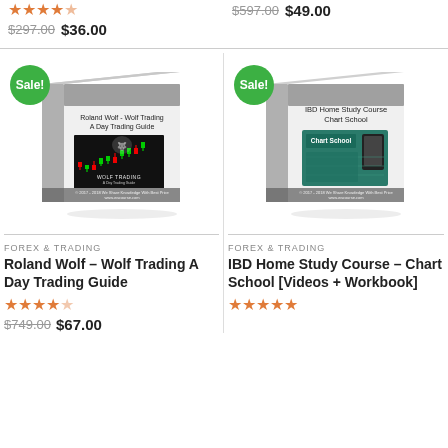[Figure (other): Star rating (4.5 stars) for left product in top strip]
$297.00 $36.00
$597.00 $49.00
[Figure (other): Book box product image for Roland Wolf - Wolf Trading A Day Trading Guide with Sale badge]
[Figure (other): Book box product image for IBD Home Study Course Chart School with Sale badge]
FOREX & TRADING
Roland Wolf – Wolf Trading A Day Trading Guide
[Figure (other): Star rating (4.5 stars)]
$749.00 $67.00
FOREX & TRADING
IBD Home Study Course – Chart School [Videos + Workbook]
[Figure (other): Star rating (5 stars)]